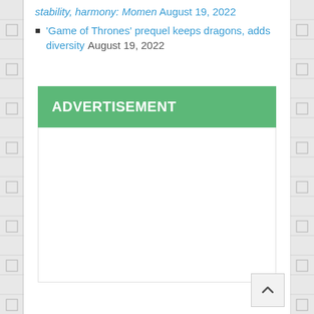stability, harmony: Momen August 19, 2022
'Game of Thrones' prequel keeps dragons, adds diversity August 19, 2022
ADVERTISEMENT